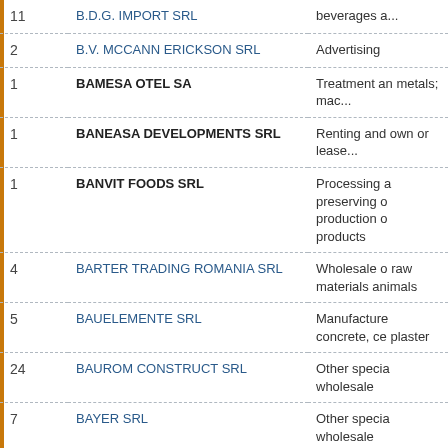| # | Company Name | Activity |
| --- | --- | --- |
| 11 | B.D.G. IMPORT SRL | beverages a... |
| 2 | B.V. MCCANN ERICKSON SRL | Advertising |
| 1 | BAMESA OTEL SA | Treatment an metals; mac... |
| 1 | BANEASA DEVELOPMENTS SRL | Renting and own or lease... |
| 1 | BANVIT FOODS SRL | Processing a preserving o production o products |
| 4 | BARTER TRADING ROMANIA SRL | Wholesale o raw materials animals |
| 5 | BAUELEMENTE SRL | Manufacture concrete, ce plaster |
| 24 | BAUROM CONSTRUCT SRL | Other specia wholesale |
| 7 | BAYER SRL | Other specia wholesale |
| 1 | BECOTEK METAL SRL | Casting of m... |